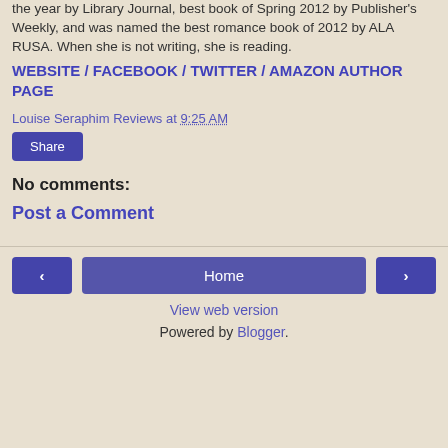the year by Library Journal, best book of Spring 2012 by Publisher's Weekly, and was named the best romance book of 2012 by ALA RUSA. When she is not writing, she is reading.
WEBSITE / FACEBOOK / TWITTER / AMAZON AUTHOR PAGE
Louise Seraphim Reviews at 9:25 AM
Share
No comments:
Post a Comment
< Home > View web version Powered by Blogger.